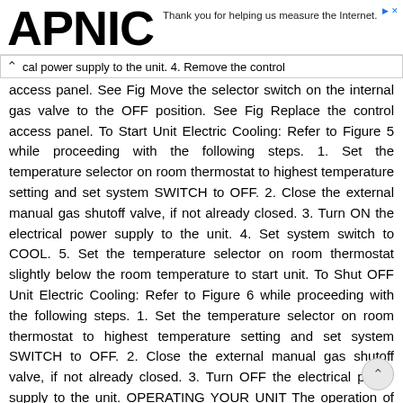APNIC | Thank you for helping us measure the Internet.
cal power supply to the unit. 4. Remove the control access panel. See Fig Move the selector switch on the internal gas valve to the OFF position. See Fig Replace the control access panel. To Start Unit Electric Cooling: Refer to Figure 5 while proceeding with the following steps. 1. Set the temperature selector on room thermostat to highest temperature setting and set system SWITCH to OFF. 2. Close the external manual gas shutoff valve, if not already closed. 3. Turn ON the electrical power supply to the unit. 4. Set system switch to COOL. 5. Set the temperature selector on room thermostat slightly below the room temperature to start unit. To Shut OFF Unit Electric Cooling: Refer to Figure 6 while proceeding with the following steps. 1. Set the temperature selector on room thermostat to highest temperature setting and set system SWITCH to OFF. 2. Close the external manual gas shutoff valve, if not already closed. 3. Turn OFF the electrical power supply to the unit. OPERATING YOUR UNIT The operation of your system is controlled by the